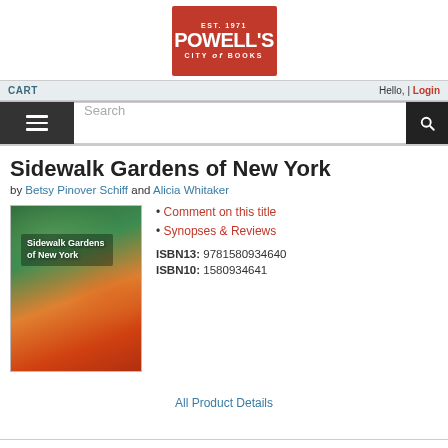[Figure (logo): Powell's City of Books logo — red square with EST. 1971, POWELL'S, CITY of BOOKS in white text]
CART    Hello, | Login
Search
Sidewalk Gardens of New York
by Betsy Pinover Schiff and Alicia Whitaker
[Figure (photo): Book cover of Sidewalk Gardens of New York showing colorful flower garden in an urban park setting]
Comment on this title
Synopses & Reviews
ISBN13: 9781580934640
ISBN10: 1580934641
All Product Details